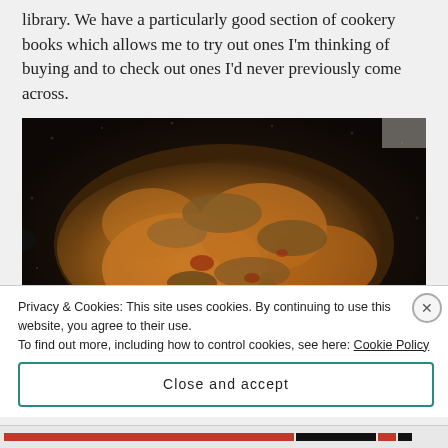library. We have a particularly good section of cookery books which allows me to try out ones I'm thinking of buying and to check out ones I'd never previously come across.
[Figure (photo): A dark speckled cooking pan viewed from above containing braised or stewed meat (likely chicken or rabbit) with onions and mushrooms in a golden-brown sauce.]
Privacy & Cookies: This site uses cookies. By continuing to use this website, you agree to their use.
To find out more, including how to control cookies, see here: Cookie Policy
Close and accept